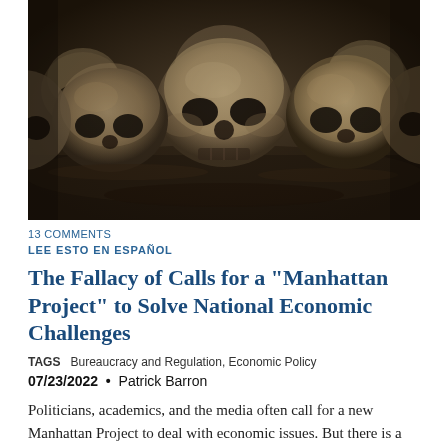[Figure (photo): Dark photograph of multiple human skulls stacked together, with a moody, dimly lit aesthetic in dark brown and black tones]
13 COMMENTS
LEE ESTO EN ESPAÑOL
The Fallacy of Calls for a "Manhattan Project" to Solve National Economic Challenges
TAGS   Bureaucracy and Regulation, Economic Policy
07/23/2022  •  Patrick Barron
Politicians, academics, and the media often call for a new Manhattan Project to deal with economic issues. But there is a